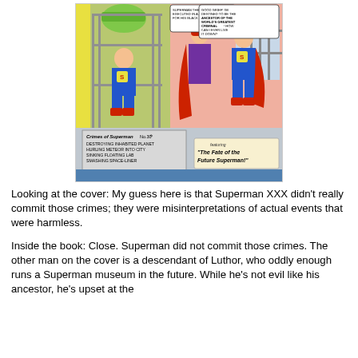[Figure (illustration): Comic book cover panel showing Superman sitting in a Kryptonite cage on the left, and another figure in red cape talking to a standing Superman on the right. Speech bubbles and text boxes read: 'Superman the 30th, who was executed in a Kryptonite cage for his black crimes!' and 'Good grief! I'm destined to be the ancestor of the world's greatest criminal! How can I ever live it down?' A placard reads: 'Crimes of Superman No.30th: Destroying Inhabited Planet, Hurling Meteor into City, Sinking Floating Lab, Smashing Space-Liner.' Bottom right banner reads: 'Featuring The Fate of the Future Superman!']
Looking at the cover: My guess here is that Superman XXX didn't really commit those crimes; they were misinterpretations of actual events that were harmless.
Inside the book: Close. Superman did not commit those crimes. The other man on the cover is a descendant of Luthor, who oddly enough runs a Superman museum in the future. While he's not evil like his ancestor, he's upset at the